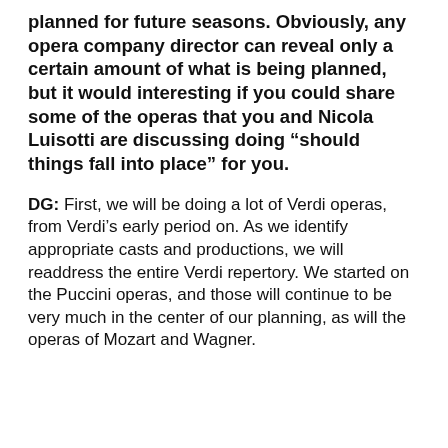planned for future seasons. Obviously, any opera company director can reveal only a certain amount of what is being planned, but it would interesting if you could share some of the operas that you and Nicola Luisotti are discussing doing “should things fall into place” for you.
DG: First, we will be doing a lot of Verdi operas, from Verdi’s early period on. As we identify appropriate casts and productions, we will readdress the entire Verdi repertory. We started on the Puccini operas, and those will continue to be very much in the center of our planning, as will the operas of Mozart and Wagner.